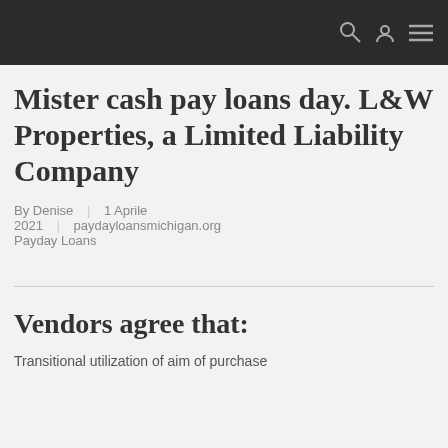Mister cash pay loans day. L&W Properties, a Limited Liability Company
By Denise | 1 Aprile 2021 | paydayloansmichigan.org Payday Loans
Vendors agree that:
Transitional utilization of aim of purchase